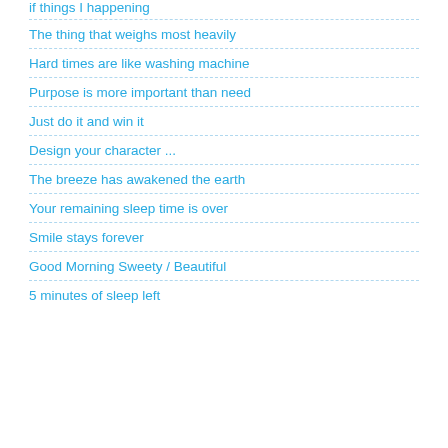if things I happening
The thing that weighs most heavily
Hard times are like washing machine
Purpose is more important than need
Just do it and win it
Design your character ...
The breeze has awakened the earth
Your remaining sleep time is over
Smile stays forever
Good Morning Sweety / Beautiful
5 minutes of sleep left